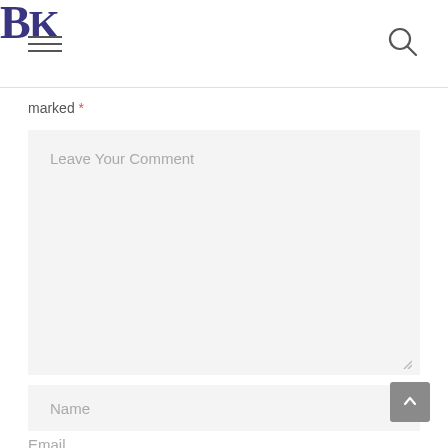BK
marked *
Leave Your Comment
Name
Email